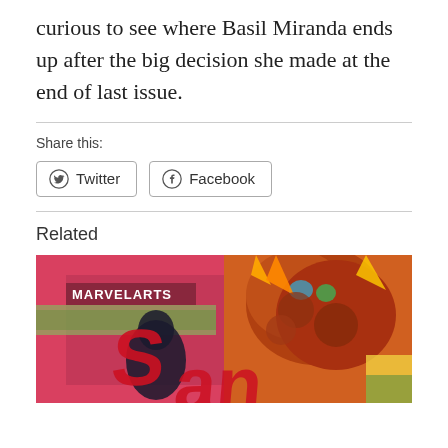curious to see where Basil Miranda ends up after the big decision she made at the end of last issue.
Share this:
[Figure (other): Twitter and Facebook share buttons]
Related
[Figure (photo): Comic book cover art showing MARVEL ARTS branding with colorful superhero illustration including a large orange rocky creature and red lettering, partially cropped]